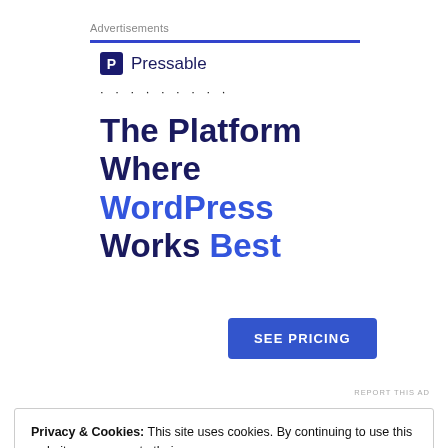Advertisements
[Figure (logo): Pressable logo with blue square icon containing letter P and text 'Pressable']
The Platform Where WordPress Works Best
SEE PRICING
REPORT THIS AD
Privacy & Cookies: This site uses cookies. By continuing to use this website, you agree to their use.
To find out more, including how to control cookies, see here: Cookie Policy
Close and accept